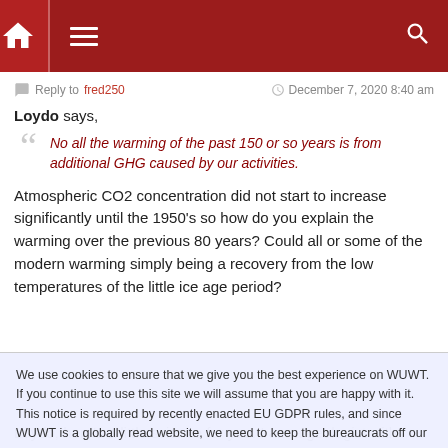WUWT navigation bar with home, menu, and search icons
Reply to fred250  December 7, 2020 8:40 am
Loydo says,
No all the warming of the past 150 or so years is from additional GHG caused by our activities.
Atmospheric CO2 concentration did not start to increase significantly until the 1950's so how do you explain the warming over the previous 80 years? Could all or some of the modern warming simply being a recovery from the low temperatures of the little ice age period?
We use cookies to ensure that we give you the best experience on WUWT. If you continue to use this site we will assume that you are happy with it. This notice is required by recently enacted EU GDPR rules, and since WUWT is a globally read website, we need to keep the bureaucrats off our case! Cookie Policy
Loydo, here's a little science for you. I am a geologist with